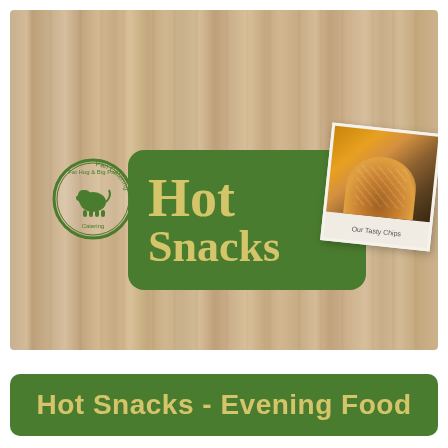[Figure (illustration): Wood plank background with Fat Hog & Big Pan Catering circular green logo on the left, a green rounded rectangle banner reading 'Hot Snacks' in golden serif text in the center, and a tilted polaroid photo of fried food (chips/fries) with caption 'Our Tasty Chips' on the right.]
Hot Snacks - Evening Food